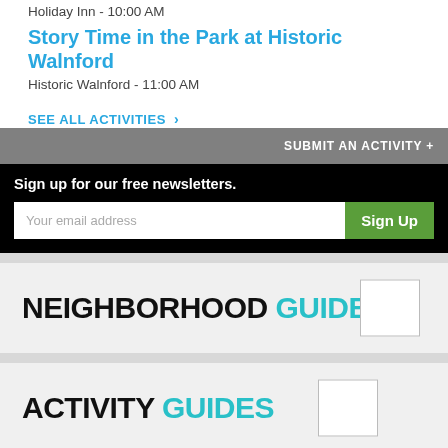Holiday Inn - 10:00 AM
Story Time in the Park at Historic Walnford
Historic Walnford - 11:00 AM
SEE ALL ACTIVITIES >
SUBMIT AN ACTIVITY +
Sign up for our free newsletters.
Your email address
Sign Up
NEIGHBORHOOD GUIDES
[Figure (other): Small placeholder image box for neighborhood guides]
ACTIVITY GUIDES
[Figure (other): Small placeholder image box for activity guides]